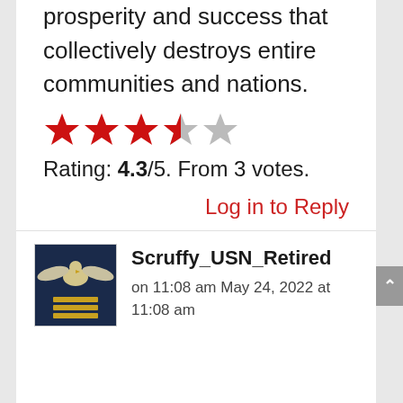prosperity and success that collectively destroys entire communities and nations.
[Figure (other): 4.3 out of 5 stars rating graphic: four filled red stars and one partially filled (gray) star]
Rating: 4.3/5. From 3 votes.
Log in to Reply
[Figure (photo): Military badge/insignia showing an eagle above gold chevron stripes on dark blue background]
Scruffy_USN_Retired
on 11:08 am May 24, 2022 at
11:08 am